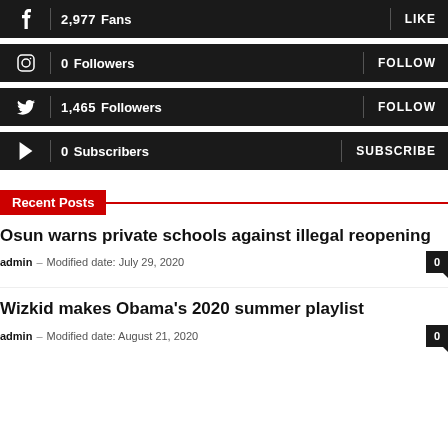[Figure (infographic): Facebook social bar: 2,977 Fans | LIKE]
[Figure (infographic): Instagram social bar: 0 Followers | FOLLOW]
[Figure (infographic): Twitter social bar: 1,465 Followers | FOLLOW]
[Figure (infographic): YouTube social bar: 0 Subscribers | SUBSCRIBE]
Recent Posts
Osun warns private schools against illegal reopening
admin – Modified date: July 29, 2020
Wizkid makes Obama's 2020 summer playlist
admin – Modified date: August 21, 2020